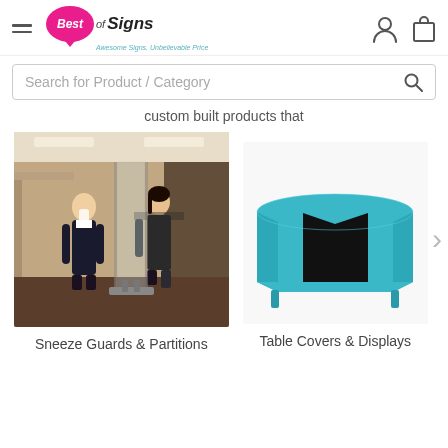Best of Signs — Awesome Signs. Unbelievable Price.
Search for Product / Category
custom built products that
[Figure (photo): Two office workers in a professional setting separated by a transparent sneeze guard partition on wheels]
Sneeze Guards & Partitions
[Figure (photo): A table dressed with a teal/cyan table cover with black panel accent]
Table Covers & Displays